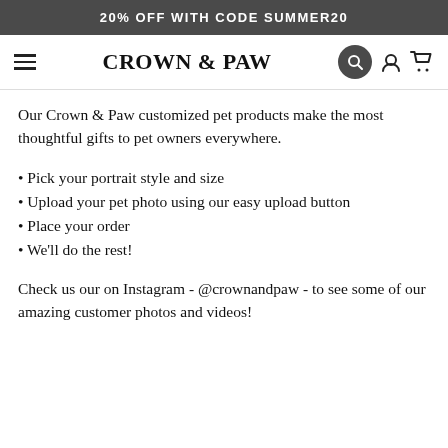20% OFF WITH CODE SUMMER20
CROWN & PAW
Our Crown & Paw customized pet products make the most thoughtful gifts to pet owners everywhere.
Pick your portrait style and size
Upload your pet photo using our easy upload button
Place your order
We'll do the rest!
Check us our on Instagram - @crownandpaw - to see some of our amazing customer photos and videos!